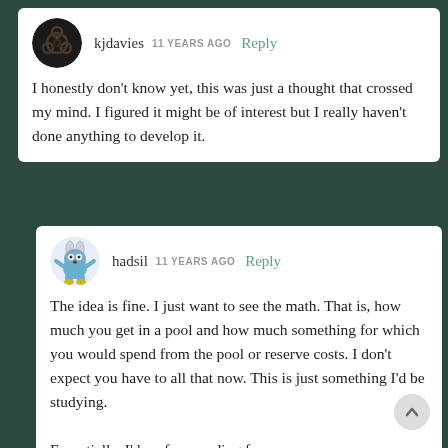kjdavies  11 YEARS AGO  Reply
I honestly don't know yet, this was just a thought that crossed my mind. I figured it might be of interest but I really haven't done anything to develop it.
hadsil  11 YEARS AGO  Reply
The idea is fine. I just want to see the math. That is, how much you get in a pool and how much something for which you would spend from the pool or reserve costs. I don't expect you have to all that now. This is just something I'd be studying.
Essentially, I'd prefer spending from a